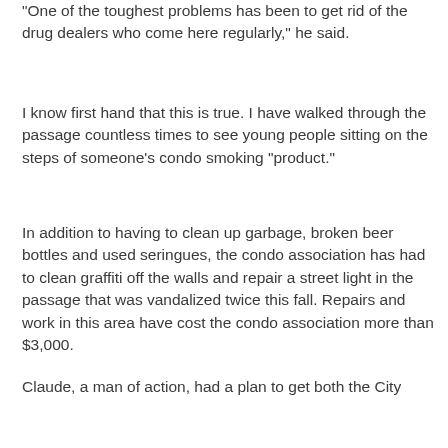"One of the toughest problems has been to get rid of the drug dealers who come here regularly," he said.
I know first hand that this is true. I have walked through the passage countless times to see young people sitting on the steps of someone's condo smoking "product."
In addition to having to clean up garbage, broken beer bottles and used seringues, the condo association has had to clean graffiti off the walls and repair a street light in the passage that was vandalized twice this fall. Repairs and work in this area have cost the condo association more than $3,000.
The worst part is that this property actually belongs to the condo association. The City of Montreal has chosen to exercise it right of way; in other words, the city is allowed to put in a path on someone else's property if it owns land on both sides. In this case, the community garden and park both belong to the city.
Claude, a man of action, had a plan to get both the City